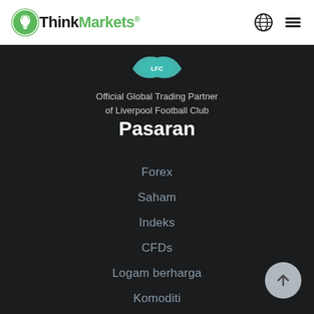ThinkMarkets® — navigation header with globe icon and hamburger menu
[Figure (logo): Teal/green Liverpool FC style shield/wave logo at top of dark section]
Official Global Trading Partner of Liverpool Football Club
Pasaran
Forex
Saham
Indeks
CFDs
Logam berharga
Komoditi
Matawang kripto